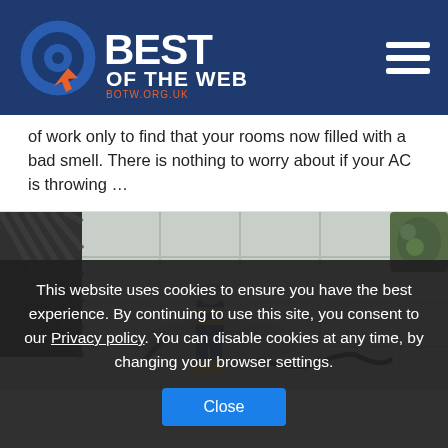[Figure (logo): Best of the Web logo with circular target icon and text BEST OF THE WEB, BOTW.ORG.UK on navy blue navbar with hamburger menu icon]
of work only to find that your rooms now filled with a bad smell. There is nothing to worry about if your AC is throwing …
[Figure (photo): Aerial view of a worker in blue overalls and yellow boots using a pressure washer on a paved outdoor surface, with a hose coiled on the ground and a plant in the corner]
This website uses cookies to ensure you have the best experience. By continuing to use this site, you consent to our Privacy policy. You can disable cookies at any time, by changing your browser settings. Close